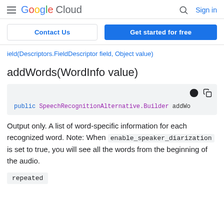Google Cloud — Sign in
Contact Us | Get started for free
ield(Descriptors.FieldDescriptor field, Object value)
addWords(WordInfo value)
public SpeechRecognitionAlternative.Builder addWo
Output only. A list of word-specific information for each recognized word. Note: When enable_speaker_diarization is set to true, you will see all the words from the beginning of the audio.
repeated